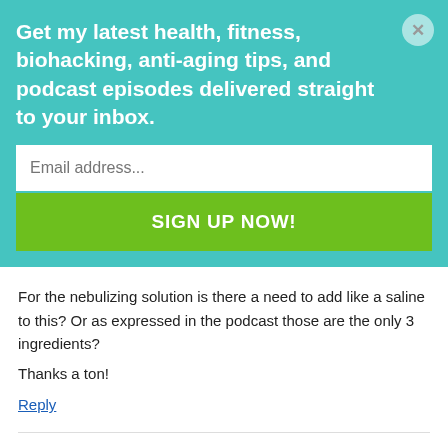Get my latest health, fitness, biohacking, anti-aging tips, and podcast episodes delivered straight to your inbox.
Email address...
SIGN UP NOW!
For the nebulizing solution is there a need to add like a saline to this? Or as expressed in the podcast those are the only 3 ingredients?

Thanks a ton!
Reply
Jon says: